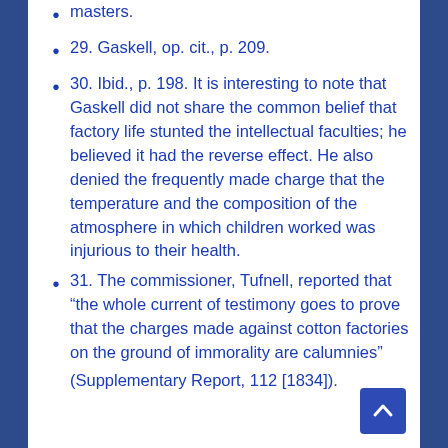masters.
29. Gaskell, op. cit., p. 209.
30. Ibid., p. 198. It is interesting to note that Gaskell did not share the common belief that factory life stunted the intellectual faculties; he believed it had the reverse effect. He also denied the frequently made charge that the temperature and the composition of the atmosphere in which children worked was injurious to their health.
31. The commissioner, Tufnell, reported that “the whole current of testimony goes to prove that the charges made against cotton factories on the ground of immorality are calumnies” (Supplementary Report, 112 [1834]).